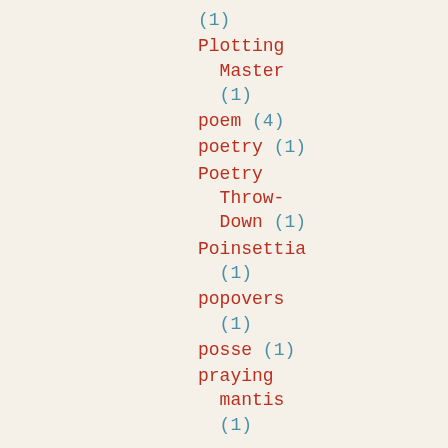(1)
Plotting Master (1)
poem (4)
poetry (1)
Poetry Throw-Down (1)
Poinsettia (1)
popovers (1)
posse (1)
praying mantis (1)